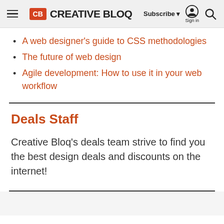CB CREATIVE BLOQ | Subscribe ▼ Sign in 🔍
A web designer's guide to CSS methodologies
The future of web design
Agile development: How to use it in your web workflow
Deals Staff
Creative Bloq's deals team strive to find you the best design deals and discounts on the internet!